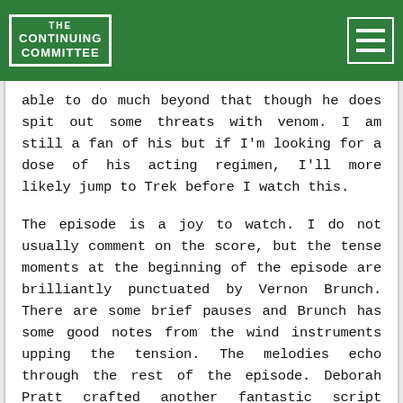THE CONTINUING COMMITTEE
able to do much beyond that though he does spit out some threats with venom. I am still a fan of his but if I'm looking for a dose of his acting regimen, I'll more likely jump to Trek before I watch this.
The episode is a joy to watch. I do not usually comment on the score, but the tense moments at the beginning of the episode are brilliantly punctuated by Vernon Brunch. There are some brief pauses and Brunch has some good notes from the wind instruments upping the tension. The melodies echo through the rest of the episode. Deborah Pratt crafted another fantastic script based on a story by herself, Donald J. Bellisario and Bill Bigelow. Michael Watkins let the actors do their job and put everything together perfectly.
+ Reply  Page 4 of 8  111 posts